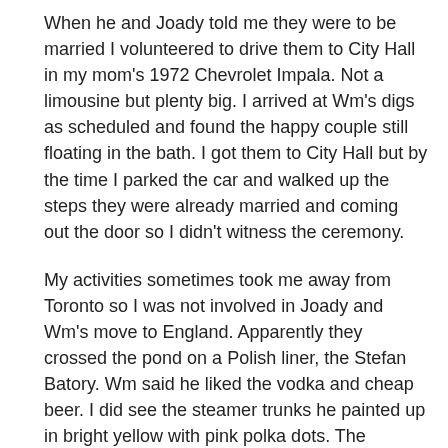When he and Joady told me they were to be married I volunteered to drive them to City Hall in my mom's 1972 Chevrolet Impala. Not a limousine but plenty big. I arrived at Wm's digs as scheduled and found the happy couple still floating in the bath. I got them to City Hall but by the time I parked the car and walked up the steps they were already married and coming out the door so I didn't witness the ceremony.
My activities sometimes took me away from Toronto so I was not involved in Joady and Wm's move to England. Apparently they crossed the pond on a Polish liner, the Stefan Batory. Wm said he liked the vodka and cheap beer. I did see the steamer trunks he painted up in bright yellow with pink polka dots. The stevedores would have a hard time losing those.
In September of 1976 I visited Wm and Joady in England.